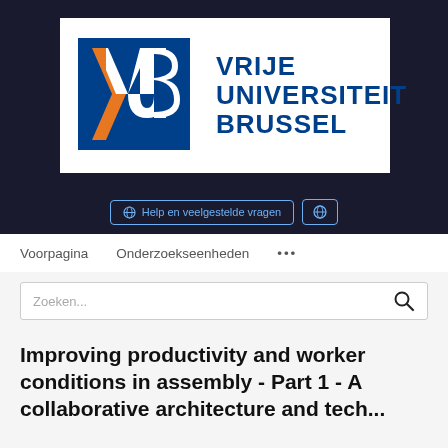[Figure (logo): Vrije Universiteit Brussel (VUB) logo with blue square containing white VUB letters and orange chevron, alongside text VRIJE UNIVERSITEIT BRUSSEL in dark blue]
Help en veelgestelde vragen
Voorpagina  Onderzoekseenheden  ...
Zoeken...
Improving productivity and worker conditions in assembly - Part 1 - A collaborative architecture and tech...